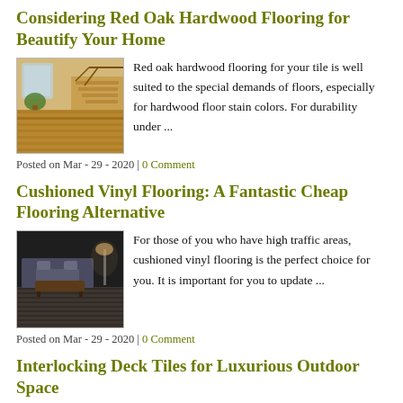Considering Red Oak Hardwood Flooring for Beautify Your Home
[Figure (photo): Interior room with hardwood flooring, staircase, warm tones]
Red oak hardwood flooring for your tile is well suited to the special demands of floors, especially for hardwood floor stain colors. For durability under ...
Posted on Mar - 29 - 2020 | 0 Comment
Cushioned Vinyl Flooring: A Fantastic Cheap Flooring Alternative
[Figure (photo): Living room with dark vinyl flooring, sofa and coffee table]
For those of you who have high traffic areas, cushioned vinyl flooring is the perfect choice for you. It is important for you to update ...
Posted on Mar - 29 - 2020 | 0 Comment
Interlocking Deck Tiles for Luxurious Outdoor Space